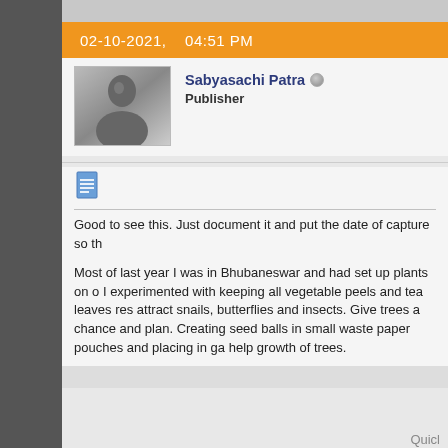02-10-2021,   04:51 PM
Sabyasachi Patra
Publisher
[Figure (photo): User avatar photo of Sabyasachi Patra - grayscale portrait photo]
Good to see this. Just document it and put the date of capture so th

Most of last year I was in Bhubaneswar and had set up plants on o I experimented with keeping all vegetable peels and tea leaves res attract snails, butterflies and insects. Give trees a chance and plan. Creating seed balls in small waste paper pouches and placing in ga help growth of trees.
Thread Information
There are currently 1 users browsing this thread. (0 memb